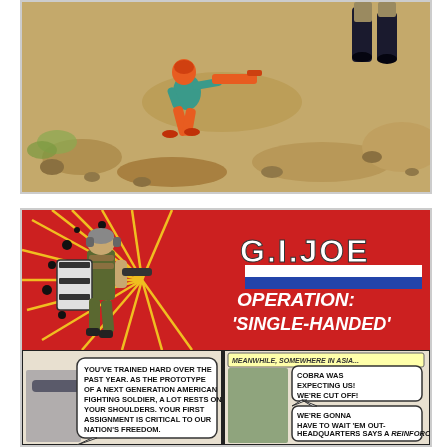[Figure (photo): GI Joe action figures photographed outdoors on rocky/sandy ground. An orange and teal figure holds an orange weapon, running toward right. Another figure in dark colors is visible in upper right corner.]
[Figure (illustration): GI Joe comic strip. Top panel shows the GI Joe title logo with 'OPERATION: SINGLE-HANDED' text and a soldier figure running with explosions. Bottom two panels show comic dialogue: 'YOU'VE TRAINED HARD OVER THE PAST YEAR. AS THE PROTOTYPE OF A NEXT GENERATION AMERICAN FIGHTING SOLDIER, A LOT RESTS ON YOUR SHOULDERS. YOUR FIRST ASSIGNMENT IS CRITICAL TO OUR NATION'S FREEDOM.' and 'MEANWHILE, SOMEWHERE IN ASIA... COBRA WAS EXPECTING US! WE'RE CUT OFF! / WE'RE GONNA HAVE TO WAIT 'EM OUT- HEADQUARTERS SAYS A REINFORCEMENT IS COMING!']